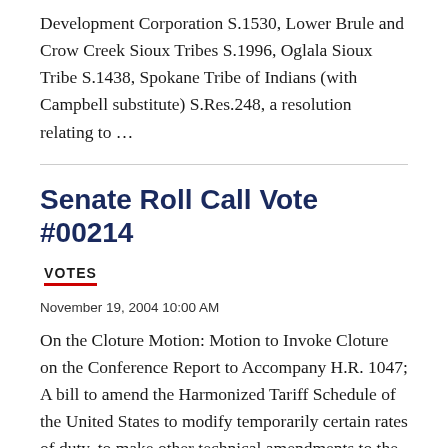Development Corporation S.1530, Lower Brule and Crow Creek Sioux Tribes S.1996, Oglala Sioux Tribe S.1438, Spokane Tribe of Indians (with Campbell substitute) S.Res.248, a resolution relating to …
Senate Roll Call Vote #00214
VOTES
November 19, 2004 10:00 AM
On the Cloture Motion: Motion to Invoke Cloture on the Conference Report to Accompany H.R. 1047; A bill to amend the Harmonized Tariff Schedule of the United States to modify temporarily certain rates of duty, to make other technical amendments to the trade laws, and for other purposes. Brooks Amendments (38-5-7…